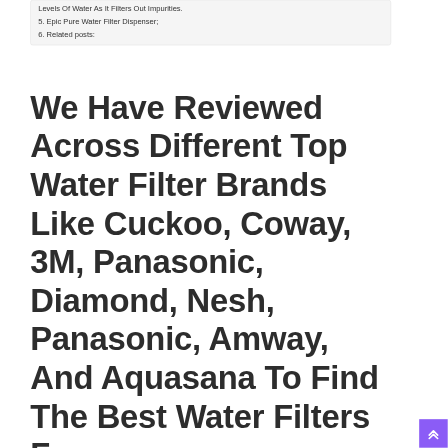Levels Of Water As It Filters Out Impurities.
5. Epic Pure Water Filter Dispenser;
6. Related posts:
We Have Reviewed Across Different Top Water Filter Brands Like Cuckoo, Coway, 3M, Panasonic, Diamond, Nesh, Panasonic, Amway, And Aquasana To Find The Best Water Filters For